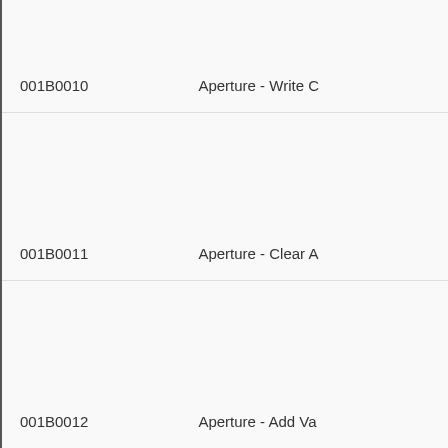| Code | Name |
| --- | --- |
| 001B0010 | Aperture - Write C |
| 001B0011 | Aperture - Clear A |
| 001B0012 | Aperture - Add Va |
| 001B0013 | Aperture - Load C |